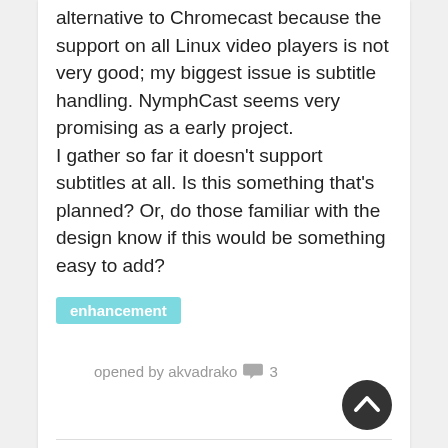Hello! I am looking for an alternative to Chromecast because the support on all Linux video players is not very good; my biggest issue is subtitle handling. NymphCast seems very promising as a early project.
I gather so far it doesn't support subtitles at all. Is this something that's planned? Or, do those familiar with the design know if this would be something easy to add?
enhancement
opened by akvadrako  3